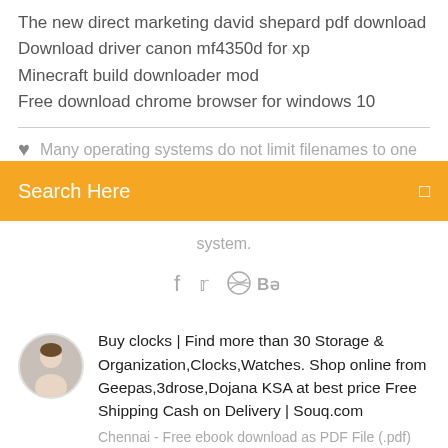The new direct marketing david shepard pdf download
Download driver canon mf4350d for xp
Minecraft build downloader mod
Free download chrome browser for windows 10
Many operating systems do not limit filenames to one
Search Here
system.
[Figure (infographic): Social share icons: Facebook, Twitter, Dribbble, Behance]
Buy clocks | Find more than 30 Storage & Organization,Clocks,Watches. Shop online from Geepas,3drose,Dojana KSA at best price Free Shipping Cash on Delivery | Souq.com
Chennai - Free ebook download as PDF File (.pdf)